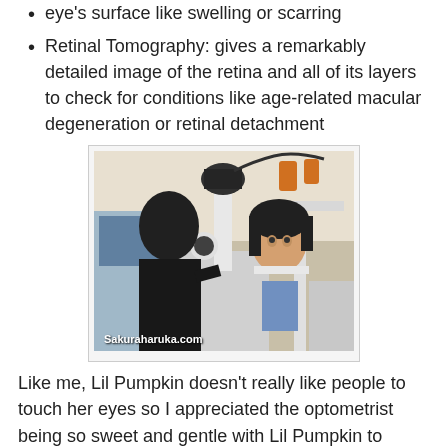Pumpkin's cornea to show positive problems on eye's surface like swelling or scarring
Retinal Tomography: gives a remarkably detailed image of the retina and all of its layers to check for conditions like age-related macular degeneration or retinal detachment
[Figure (photo): A child sitting in an optometrist chair having her eyes examined with a slit lamp machine, while an optometrist looks through the device. Watermark reads Sakuraharuka.com]
Like me, Lil Pumpkin doesn't really like people to touch her eyes so I appreciated the optometrist being so sweet and gentle with Lil Pumpkin to make her feel at ease.
She even asked Lil Pumpkin if she had any other opinions of...